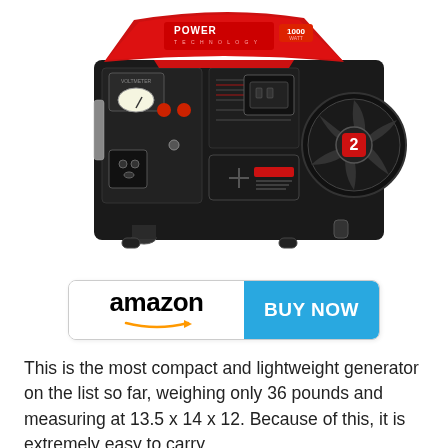[Figure (photo): A red and black Power Pro Technology 1000 Watt portable generator on white background]
[Figure (logo): Amazon logo with orange arrow smile underneath on the left, and a blue 'BUY NOW' button on the right, forming a combined call-to-action button]
This is the most compact and lightweight generator on the list so far, weighing only 36 pounds and measuring at 13.5 x 14 x 12. Because of this, it is extremely easy to carry